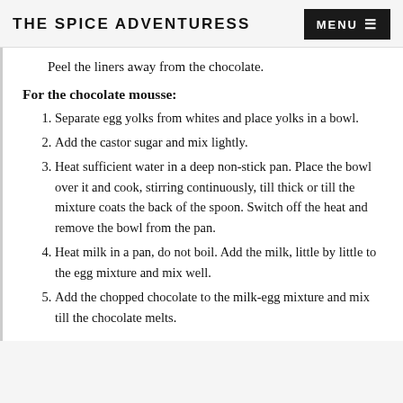THE SPICE ADVENTURESS
Peel the liners away from the chocolate.
For the chocolate mousse:
1. Separate egg yolks from whites and place yolks in a bowl.
2. Add the castor sugar and mix lightly.
3. Heat sufficient water in a deep non-stick pan. Place the bowl over it and cook, stirring continuously, till thick or till the mixture coats the back of the spoon. Switch off the heat and remove the bowl from the pan.
4. Heat milk in a pan, do not boil. Add the milk, little by little to the egg mixture and mix well.
5. Add the chopped chocolate to the milk-egg mixture and mix till the chocolate melts.